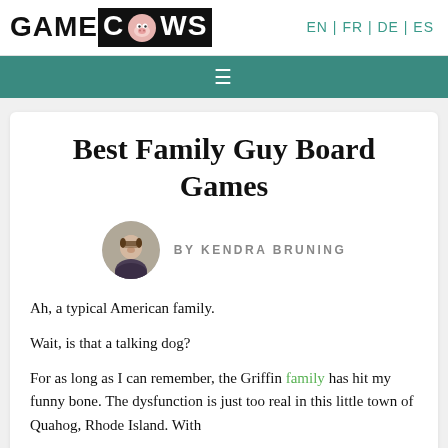GAMECOWS  EN | FR | DE | ES
Best Family Guy Board Games
[Figure (photo): Circular avatar photo of author Kendra Bruning, a woman with glasses]
BY KENDRA BRUNING
Ah, a typical American family.
Wait, is that a talking dog?
For as long as I can remember, the Griffin family has hit my funny bone. The dysfunction is just too real in this little town of Quahog, Rhode Island. With